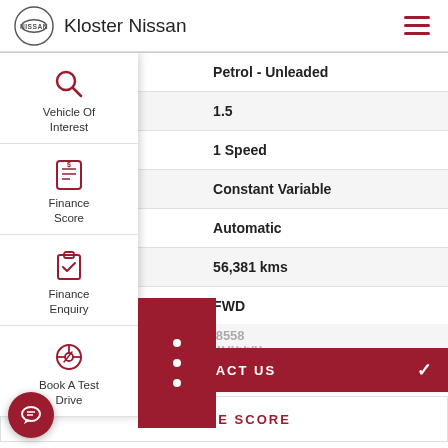Kloster Nissan
| Label | Value |
| --- | --- |
| Fuel Type | Petrol - Unleaded |
| ty | 1.5 |
|  | 1 Speed |
| ox | Constant Variable |
| ission | Automatic |
| eter | 56,381 kms |
|  | FWD |
Vehicle Of Interest
Finance Score
Finance Enquiry
Book A Test Drive
CONTACT US
FINANCE SCORE